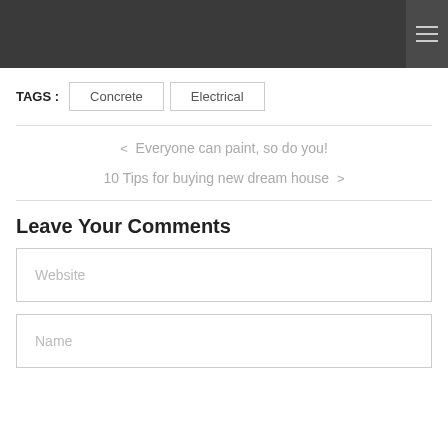TAGS : Concrete  Electrical
< Everyone can paint, so do you!
10 Tips for buying new dream house >
Leave Your Comments
Website
Name